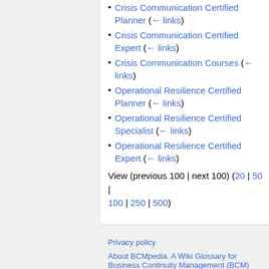Crisis Communication Certified Planner (← links)
Crisis Communication Certified Expert (← links)
Crisis Communication Courses (← links)
Operational Resilience Certified Planner (← links)
Operational Resilience Certified Specialist (← links)
Operational Resilience Certified Expert (← links)
View (previous 100 | next 100) (20 | 50 | 100 | 250 | 500)
Privacy policy
About BCMpedia. A Wiki Glossary for Business Continuity Management (BCM) and Disaster